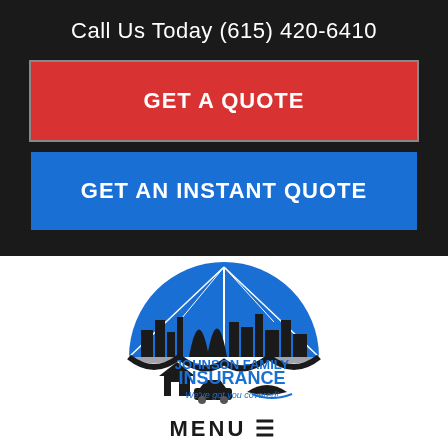Call Us Today (615) 420-6410
GET A QUOTE
GET AN INSTANT QUOTE
[Figure (logo): Johnson Family Insurance logo with blue umbrella over city skyline silhouette, home, car, and boat icons. Text: JOHNSON FAMILY INSURANCE We've got you covered!]
MENU